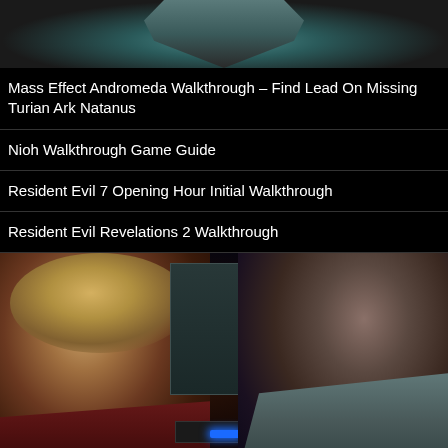[Figure (screenshot): Top portion of a video game screenshot showing armored figure from Mass Effect Andromeda]
Mass Effect Andromeda Walkthrough – Find Lead On Missing Turian Ark Natanus
Nioh Walkthrough Game Guide
Resident Evil 7 Opening Hour Initial Walkthrough
Resident Evil Revelations 2 Walkthrough
[Figure (screenshot): Video game screenshot showing two characters from Mass Effect Andromeda facing each other in a spacecraft interior]